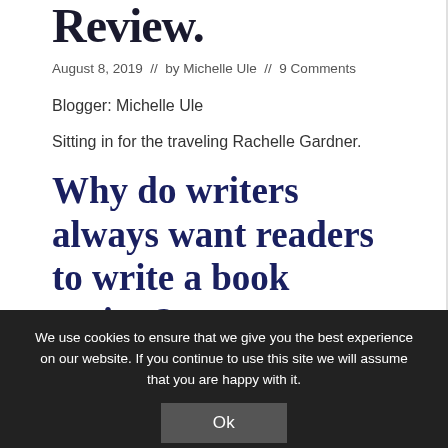Review.
August 8, 2019  //  by Michelle Ule  //  9 Comments
Blogger: Michelle Ule
Sitting in for the traveling Rachelle Gardner.
Why do writers always want readers to write a book review?
We use cookies to ensure that we give you the best experience on our website. If you continue to use this site we will assume that you are happy with it.
Ok